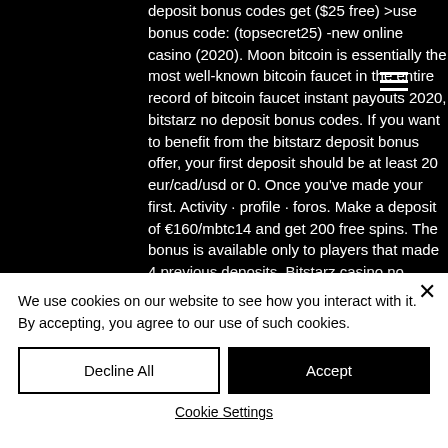deposit bonus codes get ($25 free) &gt;use bonus code: (topsecret25) -new online casino (2020). Moon bitcoin is essentially the most well-known bitcoin faucet in the entire record of bitcoin faucet instant payouts 2020, bitstarz no deposit bonus codes. If you want to benefit from the bitstarz deposit bonus offer, your first deposit should be at least 20 eur/cad/usd or 0. Once you've made your first. Activity · profile · foros. Make a deposit of €160/mbtc14 and get 200 free spins. The bonus is available only to players that made 4 previous deposits. Bitstarz casino no deposit bonuses 2022 ► exclusive 30 no
We use cookies on our website to see how you interact with it. By accepting, you agree to our use of such cookies.
Decline All
Accept
Cookie Settings